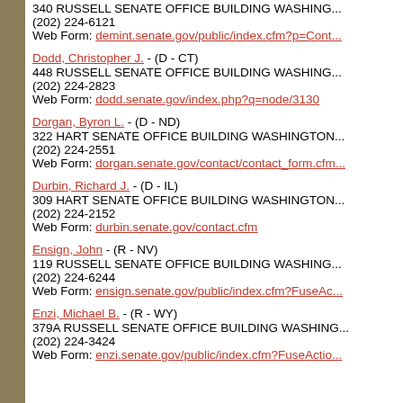340 RUSSELL SENATE OFFICE BUILDING WASHINGTON
(202) 224-6121
Web Form: demint.senate.gov/public/index.cfm?p=Cont...
Dodd, Christopher J. - (D - CT)
448 RUSSELL SENATE OFFICE BUILDING WASHINGTON
(202) 224-2823
Web Form: dodd.senate.gov/index.php?q=node/3130
Dorgan, Byron L. - (D - ND)
322 HART SENATE OFFICE BUILDING WASHINGTON
(202) 224-2551
Web Form: dorgan.senate.gov/contact/contact_form.cfm...
Durbin, Richard J. - (D - IL)
309 HART SENATE OFFICE BUILDING WASHINGTON
(202) 224-2152
Web Form: durbin.senate.gov/contact.cfm
Ensign, John - (R - NV)
119 RUSSELL SENATE OFFICE BUILDING WASHINGTON
(202) 224-6244
Web Form: ensign.senate.gov/public/index.cfm?FuseAc...
Enzi, Michael B. - (R - WY)
379A RUSSELL SENATE OFFICE BUILDING WASHINGTON
(202) 224-3424
Web Form: enzi.senate.gov/public/index.cfm?FuseActio...